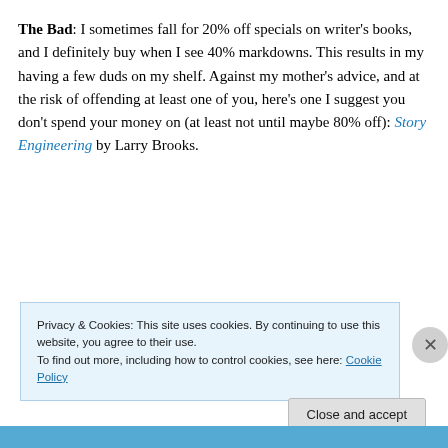The Bad: I sometimes fall for 20% off specials on writer's books, and I definitely buy when I see 40% markdowns. This results in my having a few duds on my shelf. Against my mother's advice, and at the risk of offending at least one of you, here's one I suggest you don't spend your money on (at least not until maybe 80% off): Story Engineering by Larry Brooks.
Privacy & Cookies: This site uses cookies. By continuing to use this website, you agree to their use. To find out more, including how to control cookies, see here: Cookie Policy
Close and accept